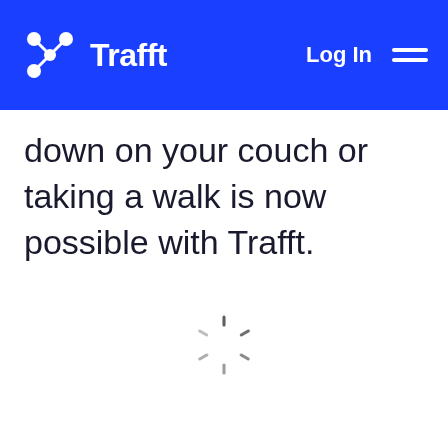Trafft — Log In
down on your couch or taking a walk is now possible with Trafft.
[Figure (other): Loading spinner icon (radial dashes in circular pattern indicating content loading)]